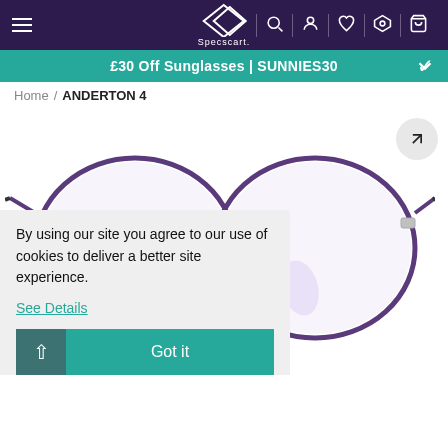Specscart navigation header with hamburger menu, logo, search, account, wishlist, stores, and cart icons
£30 Off Sunglasses | SUNNIES30
Home / ANDERTON 4
[Figure (photo): Purple round metal frame eyeglasses (Anderton 4) displayed against a white background. The frames have circular lenses with purple/violet metal rims and silver nose bridge.]
By using our site you agree to our use of cookies to deliver a better site experience.
See Details
Got it